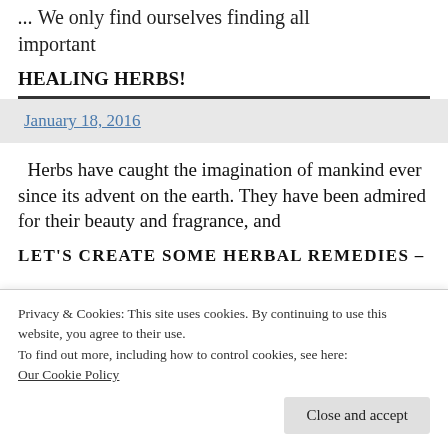... We only find ourselves finding all important
HEALING HERBS!
January 18, 2016
Herbs have caught the imagination of mankind ever since its advent on the earth. They have been admired for their beauty and fragrance, and
LET'S CREATE SOME HERBAL REMEDIES –
Privacy & Cookies: This site uses cookies. By continuing to use this website, you agree to their use.
To find out more, including how to control cookies, see here:
Our Cookie Policy
Close and accept